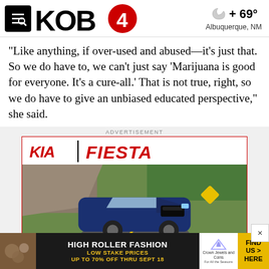KOB 4 — 69° Albuquerque, NM
“Like anything, if over-used and abused—it’s just that. So we do have to, we can’t just say ‘Marijuana is good for everyone. It’s a cure-all.’ That is not true, right, so we do have to give an unbiased educated perspective,” she said.
ADVERTISEMENT
[Figure (photo): Kia Fiesta advertisement showing a blue Kia SUV driving on a road with rocky terrain and trees in the background. Logo shows Kia wordmark and FIESTA text in red.]
[Figure (infographic): Bottom banner ad: HIGH ROLLER FASHION — LOW STAKE PRICES — UP TO 70% OFF THRU SEPT 18 — Crown Jewels and Coins — FIND US HERE]